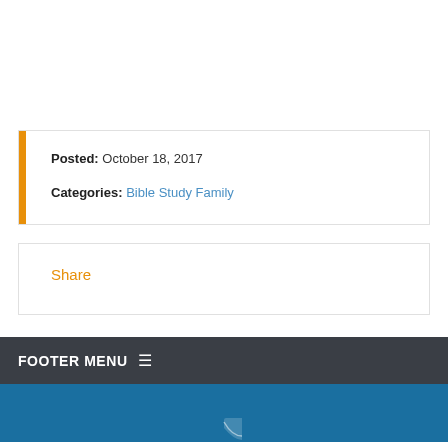Posted: October 18, 2017
Categories: Bible Study Family
Share
FOOTER MENU ☰